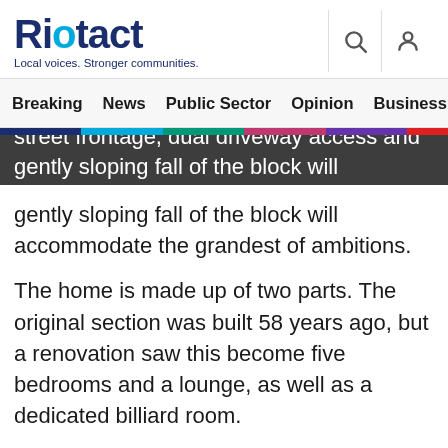Riotact — Local voices. Stronger communities.
Breaking  News  Public Sector  Opinion  Business  R
street frontage, dual driveway access and gently sloping fall of the block will accommodate the grandest of ambitions.
The home is made up of two parts. The original section was built 58 years ago, but a renovation saw this become five bedrooms and a lounge, as well as a dedicated billiard room.
“The pool table is a really striking feature of